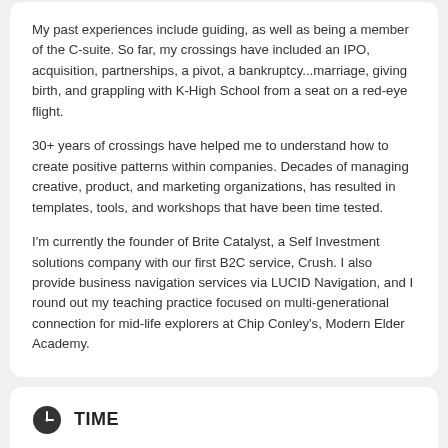My past experiences include guiding, as well as being a member of the C-suite. So far, my crossings have included an IPO, acquisition, partnerships, a pivot, a bankruptcy...marriage, giving birth, and grappling with K-High School from a seat on a red-eye flight.
30+ years of crossings have helped me to understand how to create positive patterns within companies. Decades of managing creative, product, and marketing organizations, has resulted in templates, tools, and workshops that have been time tested.
I'm currently the founder of Brite Catalyst, a Self Investment solutions company with our first B2C service, Crush. I also provide business navigation services via LUCID Navigation, and I round out my teaching practice focused on multi-generational connection for mid-life explorers at Chip Conley's, Modern Elder Academy.
TIME
(Thursday) 12:00 pm - 1:00 pm New York Time